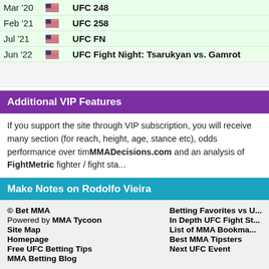| Date | Flag | Event |
| --- | --- | --- |
| Mar '20 | US flag | UFC 248 |
| Feb '21 | US flag | UFC 258 |
| Jul '21 | US flag | UFC FN |
| Jun '22 | US flag | UFC Fight Night: Tsarukyan vs. Gamrot |
|  |  |  |
Additional VIP Features
If you support the site through VIP subscription, you will receive many section (for reach, height, age, stance etc), odds performance over time, MMADecisions.com and an analysis of FightMetric fighter / fight sta...
Make Notes on Rodolfo Vieira
Log in to make notes on this fighter.
© Bet MMA
Powered by MMA Tycoon
Site Map
Homepage
Free UFC Betting Tips
MMA Betting Blog

Betting Favorites vs U...
In Depth UFC Fight St...
List of MMA Bookma...
Best MMA Tipsters
Next UFC Event